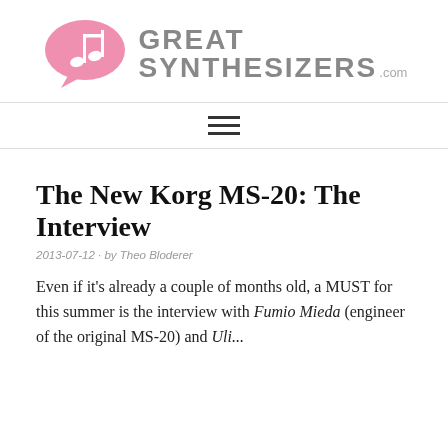[Figure (logo): GreatSynthesizers.com logo with pink speech bubble containing a musical note and gray bold text reading GREAT SYNTHESIZERS.com]
The New Korg MS-20: The Interview
2013-07-12 · by Theo Bloderer
Even if it's already a couple of months old, a MUST for this summer is the interview with Fumio Mieda (engineer of the original MS-20) and...